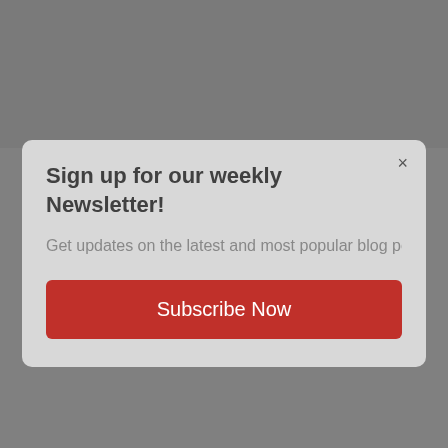[Figure (screenshot): Newsletter signup modal dialog overlay on a gray background. The modal has a light gray background with rounded corners, a close (×) button in the top right, a bold title, a subtitle text, and a red Subscribe Now button.]
Sign up for our weekly Newsletter!
Get updates on the latest and most popular blog posts from A
Subscribe Now